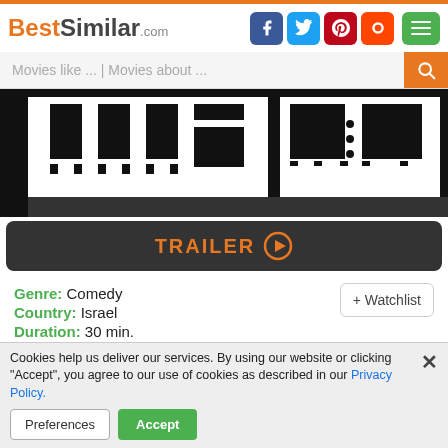BestSimilar.com
[Figure (screenshot): Movie title card with Hebrew text on black and white background]
TRAILER ▶
Genre: Comedy
Country: Israel
Duration: 30 min.
TV show
Story: Shani and her husband Shai visit her Sephardic family.
Cookies help us deliver our services. By using our website or clicking "Accept", you agree to our use of cookies as described in our Privacy Policy.